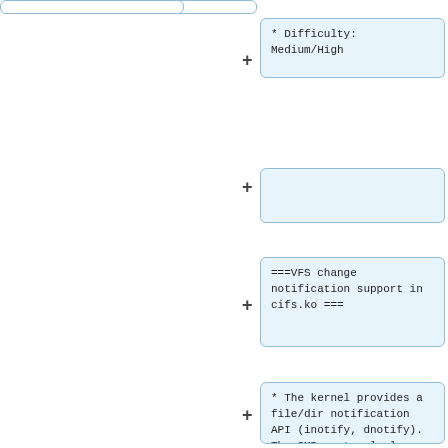* Difficulty: Medium/High
===VFS change notification support in cifs.ko ===
* The kernel provides a file/dir notification API (inotify, dnotify). The SMB protocol also provides a way to get notified of file changes. This project would be about implementing the inotify API for cifs.ko by making use of the SMB notification mechanism